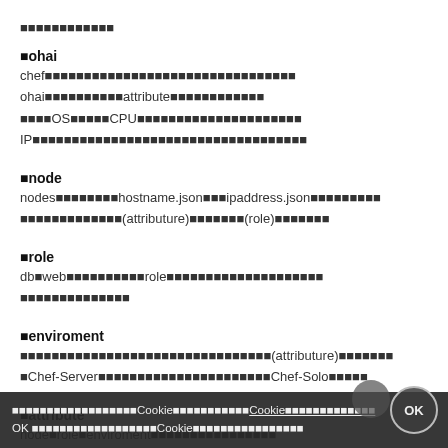■■■■■■■■■■■■
■ohai
chef■■■■■■■■■■■■■■■■■■■■■■■■■■■■■■■■
ohai■■■■■■■■■■■attribute■■■■■■■■■■■■
■■■■OS■■■■■■CPU■■■■■■■■■■■■■■■■■■■■■
IP■■■■■■■■■■■■■■■■■■■■■■■■■■■■■■■■■■■
■node
nodes■■■■■■■■■hostname.json■■■ipaddress.json■■■■■■■■■■
■■■■■■■■■■■■■■(attributure)■■■■■■■■(role)■■■■■■■
■role
db■web■■■■■■■■■■■■role■■■■■■■■■■■■■■■■■■■■
■■■■■■■■■■■■■■■
■enviroment
■■■■■■■■■■■■■■■■■■■■■■■■■■■■■■■■(attributure)■■■■■■■
■Chef-Server■■■■■■■■■■■■■■■■■■■■■■Chef-Solo■■■■■
■attribute
node■role■enviroment■■■■■■■■■■■■■■■■
template■■■：■■■■■■　<%=　%>■■■■■■■■■
http://■■■attributes/default.rb
■■■■■■■■■■■■■■■■■■Cookie■■■■■■■■■■■Cookie■■■■■■■■■■■■■■ OK ■■■■■■■■■■■■■■■■■■Cookie■■■■■■■■■■■■■■■■